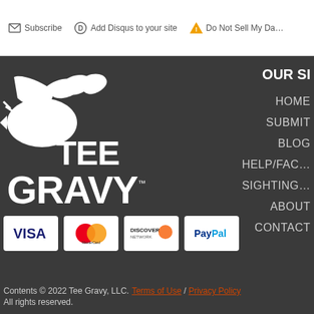Subscribe   Add Disqus to your site   Do Not Sell My Da...
[Figure (logo): Tee Gravy logo — white bird/hand graphic above TEE GRAVY text in white on dark background]
OUR SI...
HOME
SUBMIT
BLOG
HELP/FAC...
SIGHTING...
ABOUT
CONTACT
[Figure (logo): Payment method logos: VISA, MasterCard, Discover Network, PayPal]
Contents © 2022 Tee Gravy, LLC.  Terms of Use / Privacy Policy  All rights reserved.